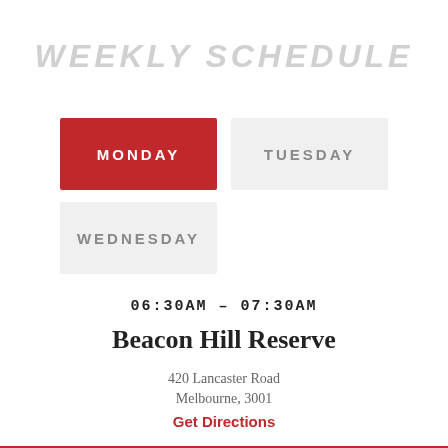WEEKLY SCHEDULE
MONDAY
TUESDAY
WEDNESDAY
06:30AM – 07:30AM
Beacon Hill Reserve
420 Lancaster Road
Melbourne, 3001
Get Directions